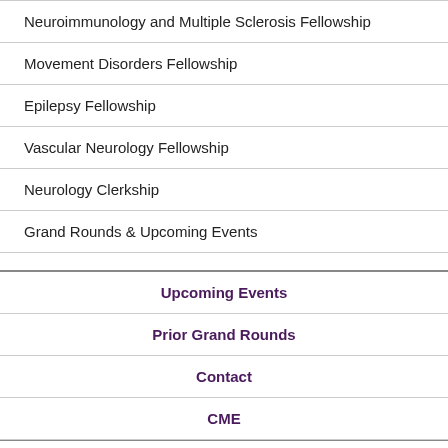Neuroimmunology and Multiple Sclerosis Fellowship
Movement Disorders Fellowship
Epilepsy Fellowship
Vascular Neurology Fellowship
Neurology Clerkship
Grand Rounds & Upcoming Events
Upcoming Events
Prior Grand Rounds
Contact
CME